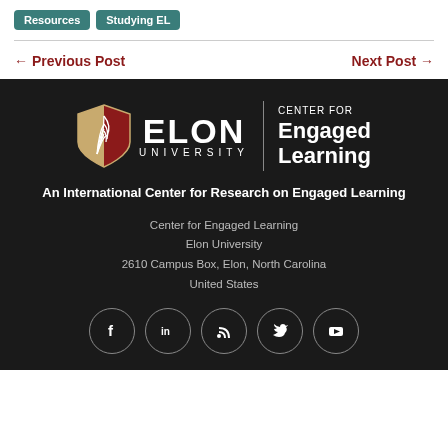Resources  Studying EL
← Previous Post    Next Post →
[Figure (logo): Elon University Center for Engaged Learning logo with shield emblem on dark background]
An International Center for Research on Engaged Learning
Center for Engaged Learning
Elon University
2610 Campus Box, Elon, North Carolina
United States
[Figure (infographic): Social media icons: Facebook, LinkedIn, RSS, Twitter, YouTube — white icons in circular outlines on dark background]